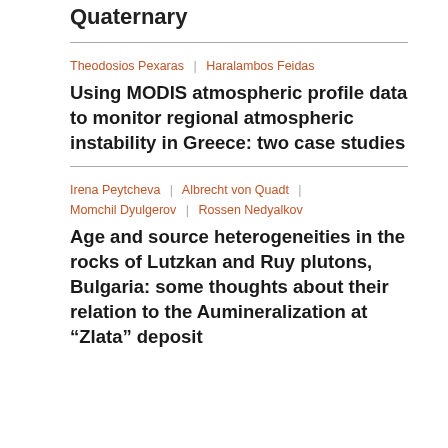Quaternary
Theodosios Pexaras | Haralambos Feidas
Using MODIS atmospheric profile data to monitor regional atmospheric instability in Greece: two case studies
Irena Peytcheva | Albrecht von Quadt | Momchil Dyulgerov | Rossen Nedyalkov
Age and source heterogeneities in the rocks of Lutzkan and Ruy plutons, Bulgaria: some thoughts about their relation to the Aumineralization at “Zlata” deposit